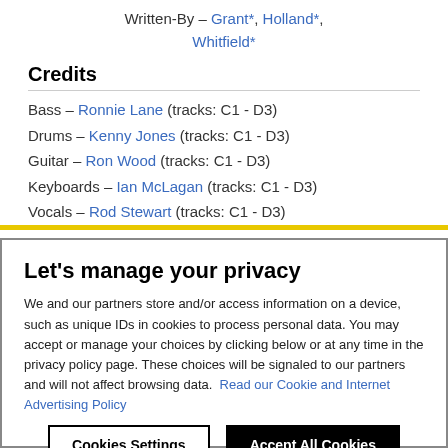Written-By – Grant*, Holland*, Whitfield*
Credits
Bass – Ronnie Lane (tracks: C1 - D3)
Drums – Kenny Jones (tracks: C1 - D3)
Guitar – Ron Wood (tracks: C1 - D3)
Keyboards – Ian McLagan (tracks: C1 - D3)
Vocals – Rod Stewart (tracks: C1 - D3)
Let's manage your privacy
We and our partners store and/or access information on a device, such as unique IDs in cookies to process personal data. You may accept or manage your choices by clicking below or at any time in the privacy policy page. These choices will be signaled to our partners and will not affect browsing data. Read our Cookie and Internet Advertising Policy
Cookies Settings | Accept All Cookies